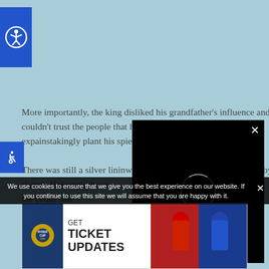[Figure (logo): Blue square accessibility icon with person figure in white circle]
[Figure (logo): Blue square wheelchair accessibility icon]
More importantly, the king disliked his grandfather's influence and couldn't trust the people that his grandfather used to the ex[tent, he had to] painstakingly plant his spie[s...]
There was still a silver linin[g which] was the fact that he could [use] merchants by rising [taxes/monitoring]. However, those [merchants] could still [undermine/influence]...
[Figure (screenshot): Black video player overlay with close X button and loading circle]
We use cookies to ensure that we give you the best experience on our website. If you continue to use this site we will assume that you are happy with it.
[Figure (photo): Advertisement banner: GET TICKET UPDATES - Ryder Cup, with photo of two golfers]